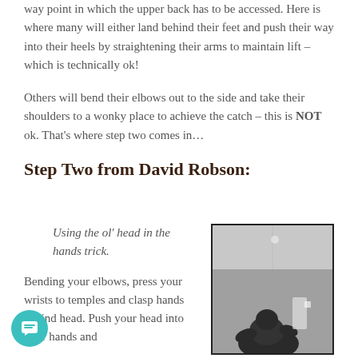way point in which the upper back has to be accessed. Here is where many will either land behind their feet and push their way into their heels by straightening their arms to maintain lift – which is technically ok!
Others will bend their elbows out to the side and take their shoulders to a wonky place to achieve the catch – this is NOT ok. That's where step two comes in…
Step Two from David Robson:
Using the ol' head in the hands trick.
Bending your elbows, press your wrists to temples and clasp hands behind head. Push your head into your hands and
[Figure (photo): Black and white photograph of a person performing an exercise movement, viewed from below/side angle in what appears to be a gym or indoor setting.]